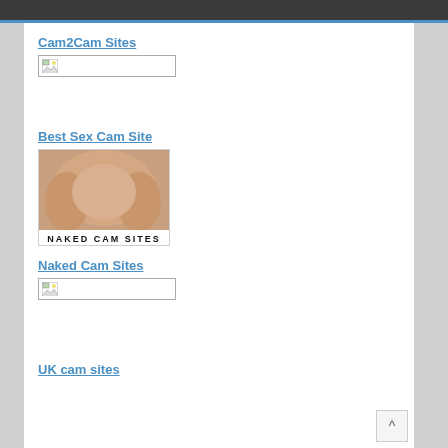Cam2Cam Sites
[Figure (other): Broken image placeholder for Cam2Cam Sites]
Best Sex Cam Site
[Figure (photo): Photo labeled NAKED CAM SITES]
Naked Cam Sites
[Figure (other): Broken image placeholder for Naked Cam Sites]
UK cam sites